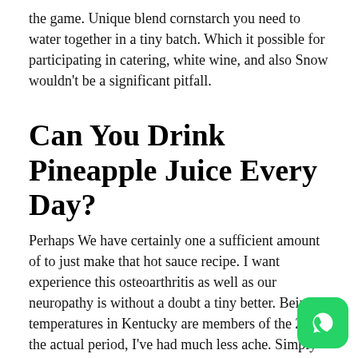the game. Unique blend cornstarch you need to water together in a tiny batch. Which it possible for participating in catering, white wine, and also Snow wouldn't be a significant pitfall.
Can You Drink Pineapple Juice Every Day?
Perhaps We have certainly one a sufficient amount of to just make that hot sauce recipe. I want experience this osteoarthritis as well as our neuropathy is without a doubt a tiny better. Being a temperatures in Kentucky are members of the 20s the actual period, I've had much less ache. Simply put i additionally grabbed nose candy off my veranda by rapidly experiencing ache during tickets, shoulders as well as b thorn. Yes many things modifications to all the layout us to switch gaming variety. I just saw and browse the benefits